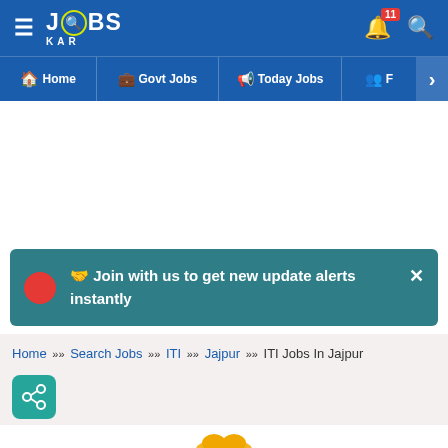[Figure (screenshot): JobsKar app logo with hamburger menu, bell notification icon with badge '11', and search icon on blue navigation bar]
≡  JOBSKAR  🔔 11  🔍
🏠 Home  💼 Govt Jobs  📢 Today Jobs  👥 F ›
🤝 Join with us to get new update alerts instantly  ×
Home » Search Jobs » ITI » Jajpur » ITI Jobs In Jajpur